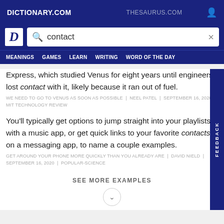DICTIONARY.COM | THESAURUS.COM
[Figure (screenshot): Dictionary.com search bar with 'contact' typed in]
MEANINGS | GAMES | LEARN | WRITING | WORD OF THE DAY
Express, which studied Venus for eight years until engineers lost contact with it, likely because it ran out of fuel.
WE NEED TO GO TO VENUS AS SOON AS POSSIBLE | NEEL PATEL | SEPTEMBER 16, 2020 | MIT TECHNOLOGY REVIEW
You'll typically get options to jump straight into your playlists with a music app, or get quick links to your favorite contacts on a messaging app, to name a couple examples.
GET AROUND YOUR PHONE MORE QUICKLY THAN YOU ALREADY ARE | DAVID NIELD | SEPTEMBER 16, 2020 | POPULAR-SCIENCE
SEE MORE EXAMPLES